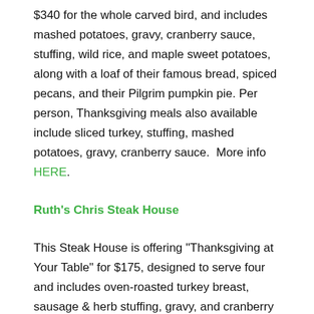$340 for the whole carved bird, and includes mashed potatoes, gravy, cranberry sauce, stuffing, wild rice, and maple sweet potatoes, along with a loaf of their famous bread, spiced pecans, and their Pilgrim pumpkin pie. Per person, Thanksgiving meals also available include sliced turkey, stuffing, mashed potatoes, gravy, cranberry sauce.  More info HERE.
Ruth's Chris Steak House
This Steak House is offering "Thanksgiving at Your Table" for $175, designed to serve four and includes oven-roasted turkey breast, sausage & herb stuffing, gravy, and cranberry relish, choice of salad and side, and four chocolate sin cakes. Their meal is served cold with reheating instructions. Thanksgiving At Ruth's | Ruth's Chris Steak House
Satchel's
The Local BBQ hotspot is offering Thanksgiving meals for pre-